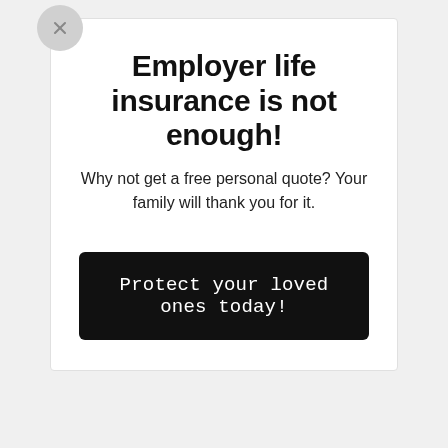Employer life insurance is not enough!
Why not get a free personal quote? Your family will thank you for it.
Protect your loved ones today!